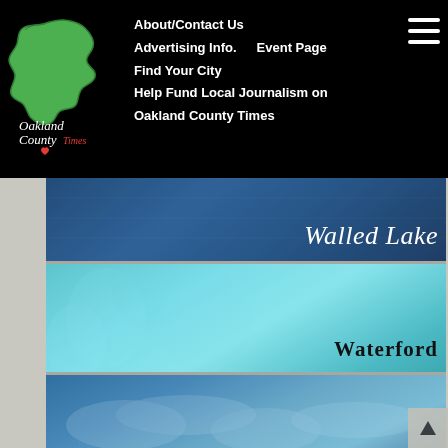[Figure (logo): Oakland County Times logo with green Michigan state shape and 'Oakland County Times' text]
About/Contact Us
Advertising Info.    Event Page
Find Your City
Help Fund Local Journalism on Oakland County Times
[Figure (illustration): Walled Lake city banner - dark blue textured background with italic white text 'Walled Lake']
[Figure (illustration): Waterford city banner - light cyan/teal floral background with bold black text 'Waterford']
[Figure (illustration): White Lake city banner - steel blue sky/cloud background with bold black text 'White Lake']
[Figure (illustration): Wixom city banner - white background with yellow flower pattern and bold black text 'Wixom']
[Figure (illustration): Wolverine Lake city banner - green leaf background with bold black text 'Wolverine Lake']